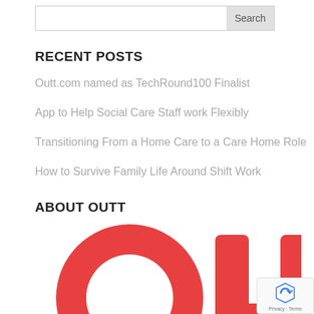[Figure (other): Search input bar with Search button on the right]
RECENT POSTS
Outt.com named as TechRound100 Finalist
App to Help Social Care Staff work Flexibly
Transitioning From a Home Care to a Care Home Role
How to Survive Family Life Around Shift Work
ABOUT OUTT
[Figure (logo): Outt logo with red and yellow figures, partial view]